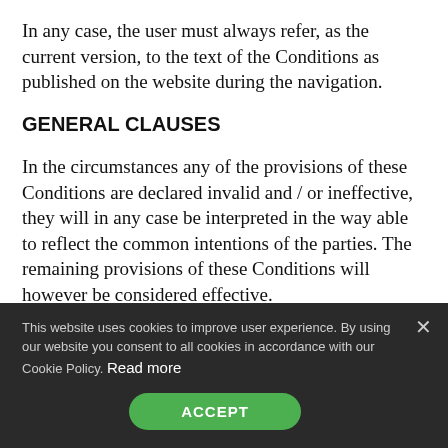In any case, the user must always refer, as the current version, to the text of the Conditions as published on the website during the navigation.
GENERAL CLAUSES
In the circumstances any of the provisions of these Conditions are declared invalid and / or ineffective, they will in any case be interpreted in the way able to reflect the common intentions of the parties. The remaining provisions of these Conditions will however be considered effective.
In the event of the user’s breach of these Conditions, the failure of begreentelligent srl to exercise the right to act
This website uses cookies to improve user experience. By using our website you consent to all cookies in accordance with our Cookie Policy. Read more
ACCEPT